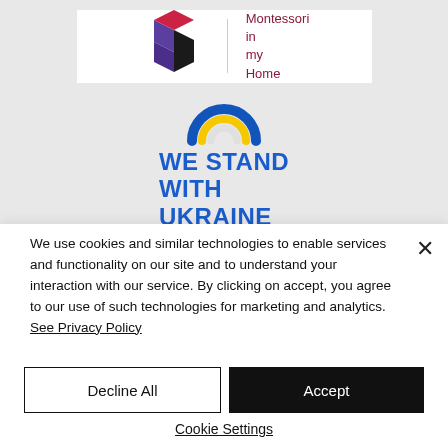[Figure (logo): Montessori in my Home logo with colorful 3D blocks (purple, red, black) and vertical text 'Montessori in my Home' in dark red]
[Figure (logo): Rainbow arch logo in blue and yellow (Ukraine colors) above bold blue text 'WE STAND WITH UKRAINE']
We use cookies and similar technologies to enable services and functionality on our site and to understand your interaction with our service. By clicking on accept, you agree to our use of such technologies for marketing and analytics. See Privacy Policy
Decline All
Accept
Cookie Settings